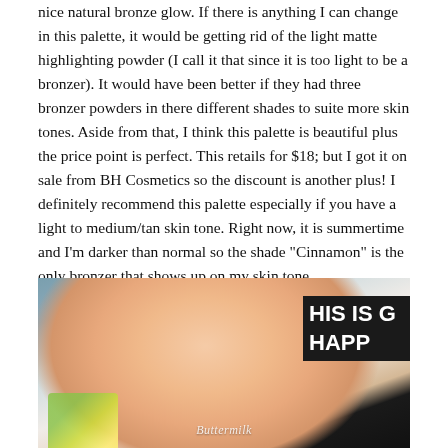nice natural bronze glow.  If there is anything I can change in this palette, it would be getting rid of the light matte highlighting powder (I call it that since it is too light to be a bronzer).  It would have been better if they had three bronzer powders in there different shades to suite more skin tones.   Aside from that, I think this palette is beautiful plus the price point is perfect.  This retails for $18; but I got it on sale from BH Cosmetics so the discount is another plus!  I definitely recommend this palette especially if you have a light to medium/tan skin tone.  Right now, it is summertime and I'm darker than normal so the shade "Cinnamon" is the only bronzer that shows up on my skin tone.
[Figure (photo): Close-up photo of the back of a hand/wrist showing a bronzer swatch on the skin. In the background, a black sign partially visible reads 'HIS IS' and 'HAPP'. There is also a colorful object (green/yellow) visible in the lower left. A watermark reading 'Buttermilk' is overlaid on the photo.]